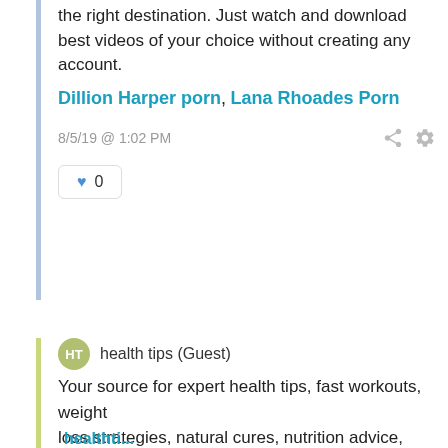the right destination. Just watch and download best videos of your choice without creating any account.
Dillion Harper porn, Lana Rhoades Porn
8/5/19 @ 1:02 PM
♥ 0
health tips (Guest)
Your source for expert health tips, fast workouts, weight loss strategies, natural cures, nutrition advice, healthy recipes, and more